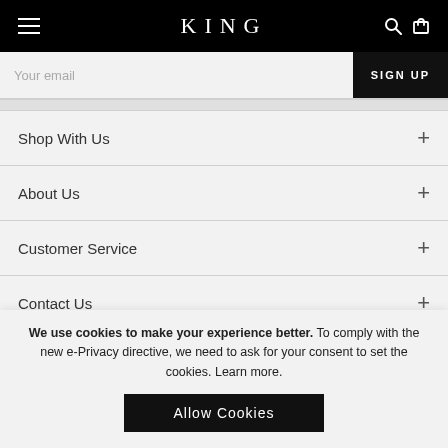KING
Your email
SIGN UP
Shop With Us
About Us
Customer Service
Contact Us
[Figure (other): Payment method icons row: several dark badge icons and two light/white badge icons]
We use cookies to make your experience better. To comply with the new e-Privacy directive, we need to ask for your consent to set the cookies. Learn more.
Allow Cookies